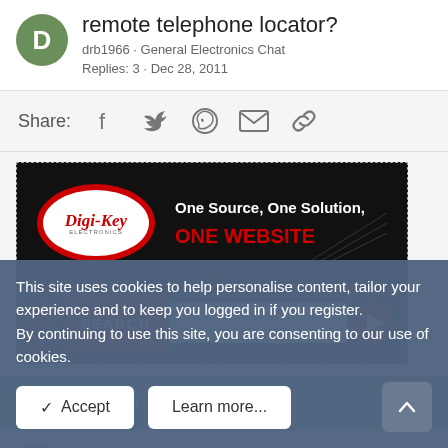remote telephone locator?
drb1966 · General Electronics Chat
Replies: 3 · Dec 28, 2011
Share:
[Figure (other): Digi-Key Electronics advertisement banner: One Source, One Solution, ONE WEBSITE with search bar]
Latest Threads
what if any remote relay to turn off the engine to
This site uses cookies to help personalise content, tailor your experience and to keep you logged in if you register. By continuing to use this site, you are consenting to our use of cookies.